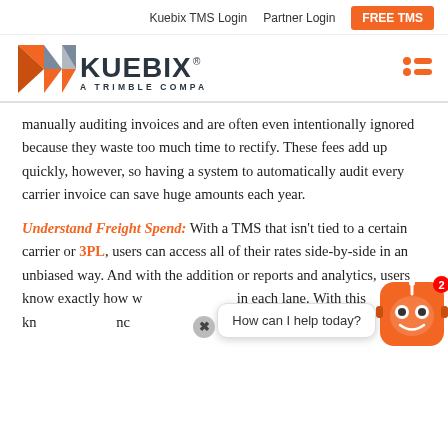Kuebix TMS Login   Partner Login   FREE TMS
[Figure (logo): Kuebix logo with geometric diamond shape in orange and grey, text 'KUEBIX. A TRIMBLE COMPANY']
manually auditing invoices and are often even intentionally ignored because they waste too much time to rectify. These fees add up quickly, however, so having a system to automatically audit every carrier invoice can save huge amounts each year.
Understand Freight Spend: With a TMS that isn't tied to a certain carrier or 3PL, users can access all of their rates side-by-side in an unbiased way. And with the addition or reports and analytics, users know exactly how w... ...in each lane. With this kn... ...nc